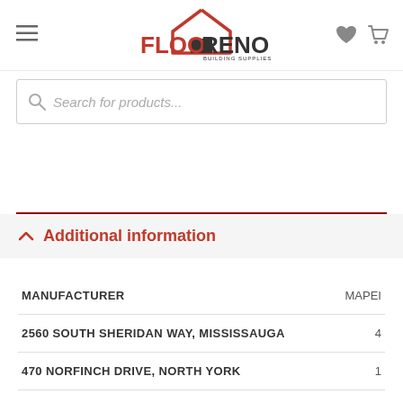FlooReno Building Supplies
Search for products...
Additional information
|  |  |
| --- | --- |
| MANUFACTURER | MAPEI |
| 2560 SOUTH SHERIDAN WAY, MISSISSAUGA | 4 |
| 470 NORFINCH DRIVE, NORTH YORK | 1 |
| OTTAWA FLOORENO BUILDING SUPPLIES | -2 |